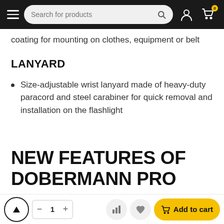Search for products [nav bar with hamburger, search, user icon, cart]
coating for mounting on clothes, equipment or belt
LANYARD
Size-adjustable wrist lanyard made of heavy-duty paracord and steel carabiner for quick removal and installation on the flashlight
NEW FEATURES OF DOBERMANN PRO